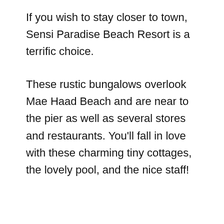If you wish to stay closer to town, Sensi Paradise Beach Resort is a terrific choice.
These rustic bungalows overlook Mae Haad Beach and are near to the pier as well as several stores and restaurants. You'll fall in love with these charming tiny cottages, the lovely pool, and the nice staff!